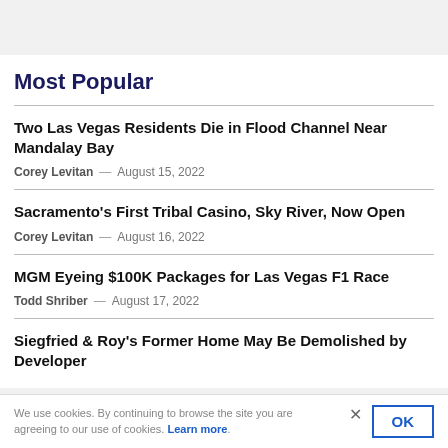Most Popular
Two Las Vegas Residents Die in Flood Channel Near Mandalay Bay
Corey Levitan — August 15, 2022
Sacramento's First Tribal Casino, Sky River, Now Open
Corey Levitan — August 16, 2022
MGM Eyeing $100K Packages for Las Vegas F1 Race
Todd Shriber — August 17, 2022
Siegfried & Roy's Former Home May Be Demolished by Developer
We use cookies. By continuing to browse the site you are agreeing to our use of cookies. Learn more.